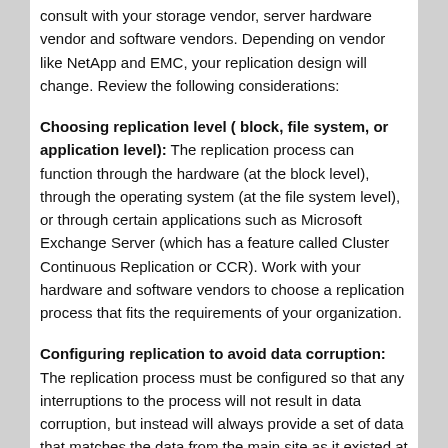consult with your storage vendor, server hardware vendor and software vendors. Depending on vendor like NetApp and EMC, your replication design will change. Review the following considerations:
Choosing replication level ( block, file system, or application level): The replication process can function through the hardware (at the block level), through the operating system (at the file system level), or through certain applications such as Microsoft Exchange Server (which has a feature called Cluster Continuous Replication or CCR). Work with your hardware and software vendors to choose a replication process that fits the requirements of your organization.
Configuring replication to avoid data corruption: The replication process must be configured so that any interruptions to the process will not result in data corruption, but instead will always provide a set of data that matches the data from the main site as it existed at some moment in time. In other words, the replication must always preserve the order of I/O operations that occurred